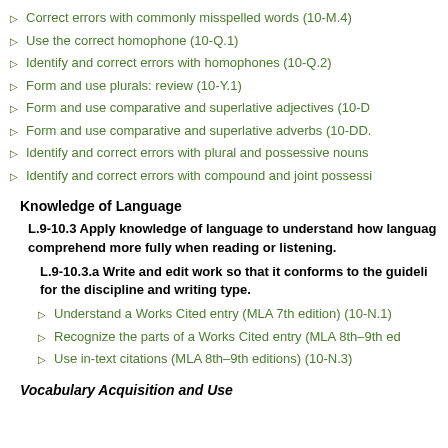Correct errors with commonly misspelled words (10-M.4)
Use the correct homophone (10-Q.1)
Identify and correct errors with homophones (10-Q.2)
Form and use plurals: review (10-Y.1)
Form and use comparative and superlative adjectives (10-D...
Form and use comparative and superlative adverbs (10-DD....
Identify and correct errors with plural and possessive nouns...
Identify and correct errors with compound and joint possessi...
Knowledge of Language
L.9-10.3 Apply knowledge of language to understand how language functions in different contexts, to make effective choices for meaning or style, and to comprehend more fully when reading or listening.
L.9-10.3.a Write and edit work so that it conforms to the guidelines in a style manual (e.g., MLA Handbook, Turabian's Manual for Writers) appropriate for the discipline and writing type.
Understand a Works Cited entry (MLA 7th edition) (10-N.1)
Recognize the parts of a Works Cited entry (MLA 8th–9th ed...
Use in-text citations (MLA 8th–9th editions) (10-N.3)
Vocabulary Acquisition and Use